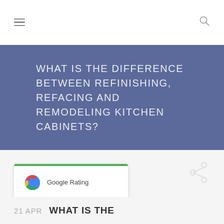☰  🔍
WHAT IS THE DIFFERENCE BETWEEN REFINISHING, REFACING AND REMODELING KITCHEN CABINETS?
[Figure (other): Google Rating card showing 4.9 stars with Google G logo and green top border]
21 APR  WHAT IS THE